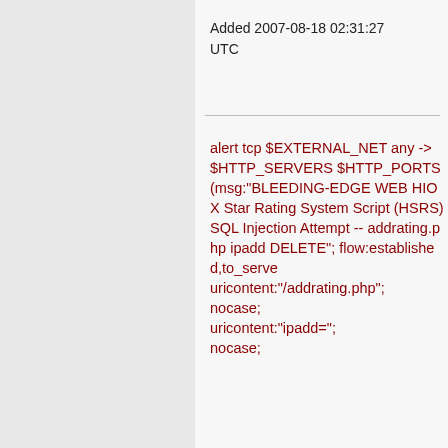Added 2007-08-18 02:31:27 UTC
alert tcp $EXTERNAL_NET any -> $HTTP_SERVERS $HTTP_PORTS (msg:"BLEEDING-EDGE WEB HIOX Star Rating System Script (HSRS) SQL Injection Attempt -- addrating.php ipadd DELETE"; flow:established,to_server; uricontent:"/addrating.php"; nocase; uricontent:"ipadd="; nocase;